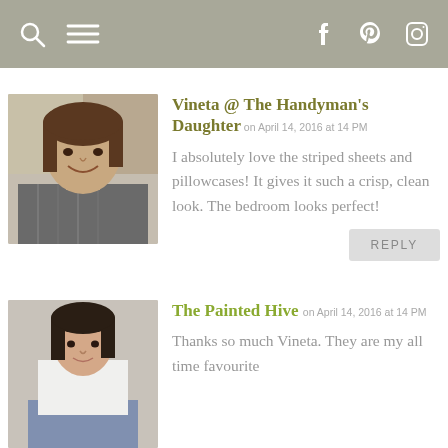navigation bar with search, menu, facebook, pinterest, instagram icons
Vineta @ The Handyman's Daughter on April 14, 2016 at 14 PM
I absolutely love the striped sheets and pillowcases! It gives it such a crisp, clean look. The bedroom looks perfect!
The Painted Hive on April 14, 2016 at 14 PM
Thanks so much Vineta. They are my all time favourite